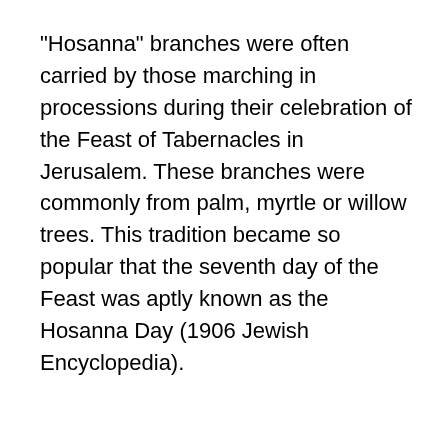"Hosanna" branches were often carried by those marching in processions during their celebration of the Feast of Tabernacles in Jerusalem. These branches were commonly from palm, myrtle or willow trees. This tradition became so popular that the seventh day of the Feast was aptly known as the Hosanna Day (1906 Jewish Encyclopedia).